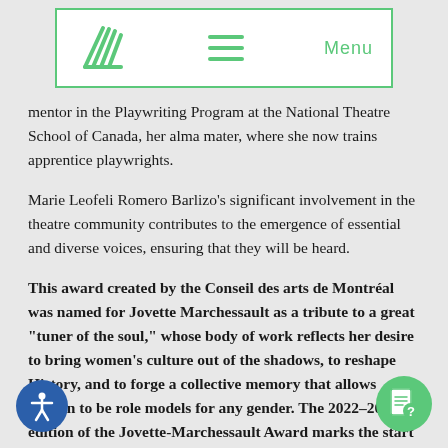Menu
mentor in the Playwriting Program at the National Theatre School of Canada, her alma mater, where she now trains apprentice playwrights.
Marie Leofeli Romero Barlizo’s significant involvement in the theatre community contributes to the emergence of essential and diverse voices, ensuring that they will be heard.
This award created by the Conseil des arts de Montréal was named for Jovette Marchessault as a tribute to a great “tuner of the soul,” whose body of work reflects her desire to bring women’s culture out of the shadows, to reshape History, and to forge a collective memory that allows women to be role models for any gender. The 2022–2023 edition of the Jovette-Marchessault Award marks the start a new cycle of disciplines, with directors taking centre stage. The call for applications will begin in fall 2022.